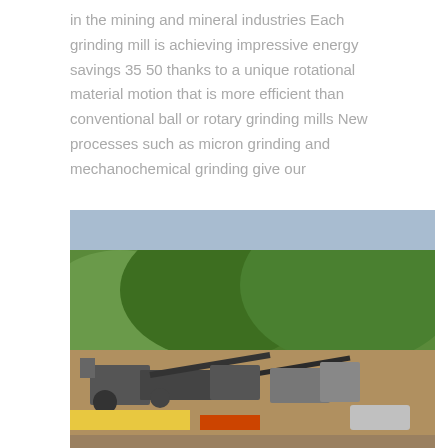in the mining and mineral industries  Each grinding mill is achieving impressive energy savings 35 50 thanks to a unique rotational material motion that is more efficient than conventional ball or rotary grinding mills  New processes such as micron grinding and mechanochemical grinding give our
[Figure (photo): A mining site photograph showing green hills covered in vegetation in the background, with mining/crushing equipment and conveyor belts in the foreground on a dirt/gravel surface. Text overlays appear on the image including a bold title 'ball clay mining and beneficiation in india' and smaller grey text lines about ball mill, pearl mill, drais pm, Mining, Wet Milling, Ball Mill, etc.]